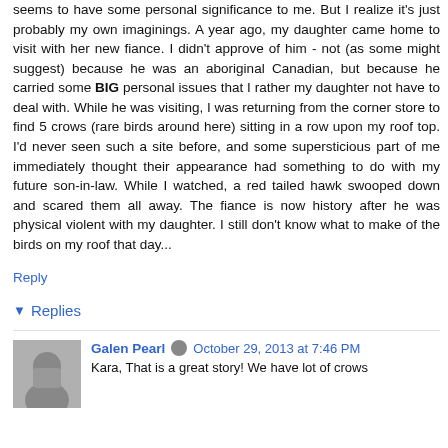seems to have some personal significance to me. But I realize it's just probably my own imaginings. A year ago, my daughter came home to visit with her new fiance. I didn't approve of him - not (as some might suggest) because he was an aboriginal Canadian, but because he carried some BIG personal issues that I rather my daughter not have to deal with. While he was visiting, I was returning from the corner store to find 5 crows (rare birds around here) sitting in a row upon my roof top. I'd never seen such a site before, and some supersticious part of me immediately thought their appearance had something to do with my future son-in-law. While I watched, a red tailed hawk swooped down and scared them all away. The fiance is now history after he was physical violent with my daughter. I still don't know what to make of the birds on my roof that day...
Reply
Replies
Galen Pearl
October 29, 2013 at 7:46 PM
Kara, That is a great story! We have lot of crows